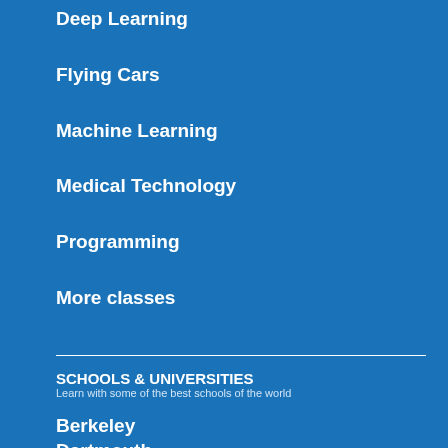Deep Learning
Flying Cars
Machine Learning
Medical Technology
Programming
More classes
SCHOOLS & UNIVERSITIES
Learn with some of the best schools of the world
Berkeley
Dartmouth